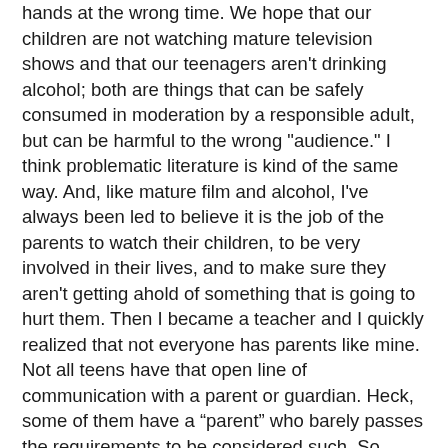hands at the wrong time. We hope that our children are not watching mature television shows and that our teenagers aren't drinking alcohol; both are things that can be safely consumed in moderation by a responsible adult, but can be harmful to the wrong "audience." I think problematic literature is kind of the same way. And, like mature film and alcohol, I've always been led to believe it is the job of the parents to watch their children, to be very involved in their lives, and to make sure they aren't getting ahold of something that is going to hurt them. Then I became a teacher and I quickly realized that not everyone has parents like mine. Not all teens have that open line of communication with a parent or guardian. Heck, some of them have a “parent” who barely passes the requirements to be considered such. So, sometimes, it falls on the other responsible adults in that student’s life to help them with character education.
Problematic literature is incredibly valuable in a classroom full of teenagers. English and theatre are two of my greatest passions, and both of those things deal with the exploration of the human condition. Through stories, we are able to put ourselves in the position of another person, and we are able